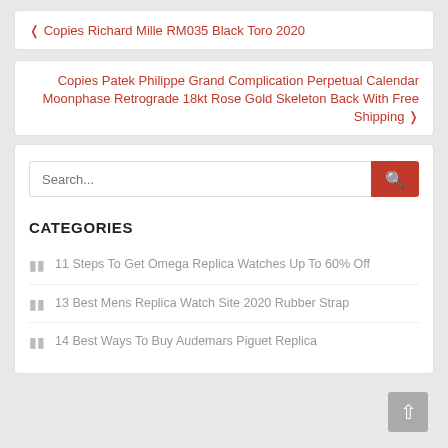< Copies Richard Mille RM035 Black Toro 2020
Copies Patek Philippe Grand Complication Perpetual Calendar Moonphase Retrograde 18kt Rose Gold Skeleton Back With Free Shipping >
Search...
CATEGORIES
11 Steps To Get Omega Replica Watches Up To 60% Off
13 Best Mens Replica Watch Site 2020 Rubber Strap
14 Best Ways To Buy Audemars Piguet Replica